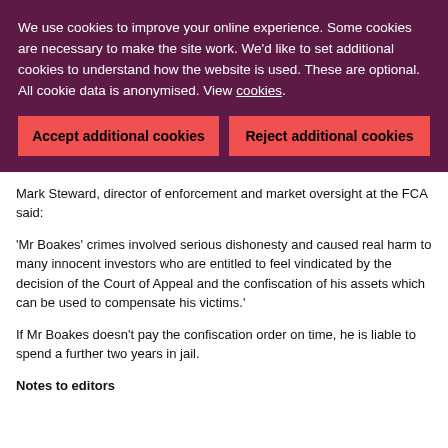We use cookies to improve your online experience. Some cookies are necessary to make the site work. We'd like to set additional cookies to understand how the website is used. These are optional. All cookie data is anonymised. View cookies.
Accept additional cookies
Reject additional cookies
Mark Steward, director of enforcement and market oversight at the FCA said:
'Mr Boakes' crimes involved serious dishonesty and caused real harm to many innocent investors who are entitled to feel vindicated by the decision of the Court of Appeal and the confiscation of his assets which can be used to compensate his victims.'
If Mr Boakes doesn't pay the confiscation order on time, he is liable to spend a further two years in jail.
Notes to editors